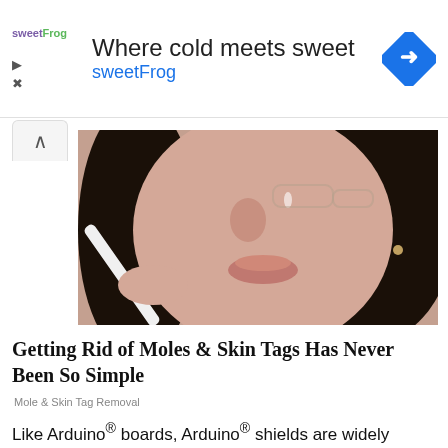[Figure (other): SweetFrog advertisement banner with logo, headline 'Where cold meets sweet', brand name 'sweetFrog', and a blue diamond navigation arrow icon]
[Figure (photo): Close-up photo of a woman's face applying something to her cheek, dark hair, holding a white device near her face]
Getting Rid of Moles & Skin Tags Has Never Been So Simple
Mole & Skin Tag Removal
Like Arduino® boards, Arduino® shields are widely available and affordable for electronics hobbyists. The vast number of different Arduino® shields...